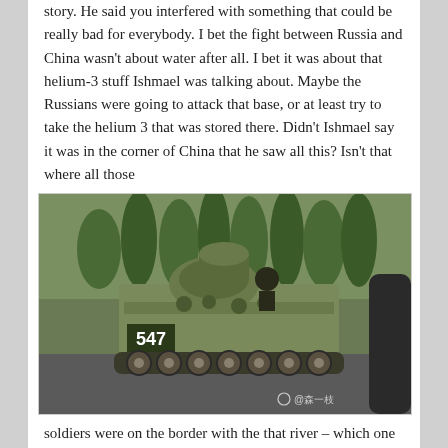story. He said you interfered with something that could be really bad for everybody. I bet the fight between Russia and China wasn't about water after all. I bet it was about that helium-3 stuff Ishmael was talking about. Maybe the Russians were going to attack that base, or at least try to take the helium 3 that was stored there. Didn't Ishmael say it was in the corner of China that he saw all this? Isn't that where all those
[Figure (photo): A military armored personnel carrier (numbered 547) on a road, photographed from a nearby vehicle. Trees visible in background. Weibo watermark with @森一枝 visible at bottom right.]
soldiers were on the border with the that river – which one